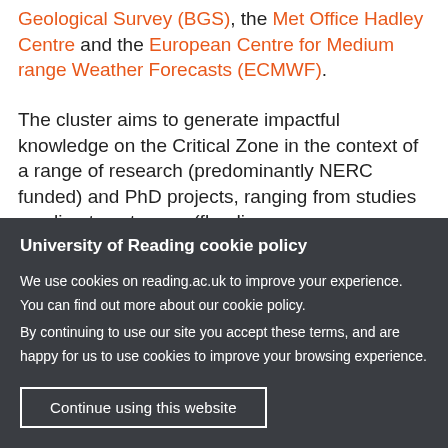Geological Survey (BGS), the Met Office Hadley Centre and the European Centre for Medium range Weather Forecasts (ECMWF).
The cluster aims to generate impactful knowledge on the Critical Zone in the context of a range of research (predominantly NERC funded) and PhD projects, ranging from studies on climate extremes (flooding, drought, heat, and intense rainfall) and broader...
University of Reading cookie policy
We use cookies on reading.ac.uk to improve your experience. You can find out more about our cookie policy.
By continuing to use our site you accept these terms, and are happy for us to use cookies to improve your browsing experience.
Continue using this website